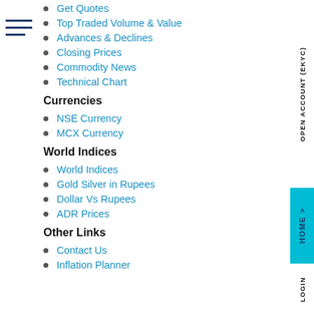Get Quotes
Top Traded Volume & Value
Advances & Declines
Closing Prices
Commodity News
Technical Chart
Currencies
NSE Currency
MCX Currency
World Indices
World Indices
Gold Silver in Rupees
Dollar Vs Rupees
ADR Prices
Other Links
Contact Us
Inflation Planner